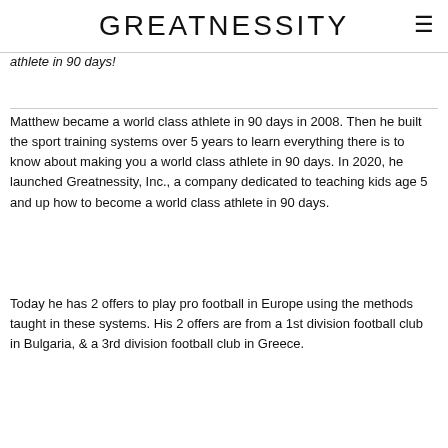GREATNESSITY
athlete in 90 days!
Matthew became a world class athlete in 90 days in 2008. Then he built the sport training systems over 5 years to learn everything there is to know about making you a world class athlete in 90 days. In 2020, he launched Greatnessity, Inc., a company dedicated to teaching kids age 5 and up how to become a world class athlete in 90 days.
Today he has 2 offers to play pro football in Europe using the methods taught in these systems. His 2 offers are from a 1st division football club in Bulgaria, & a 3rd division football club in Greece.